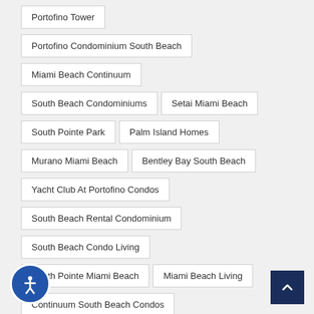Portofino Tower
Portofino Condominium South Beach
Miami Beach Continuum
South Beach Condominiums
Setai Miami Beach
South Pointe Park
Palm Island Homes
Murano Miami Beach
Bentley Bay South Beach
Yacht Club At Portofino Condos
South Beach Rental Condominium
South Beach Condo Living
South Pointe Miami Beach
Miami Beach Living
Continuum South Beach Condos
Miami Beach Short Sales
South Of Fifth Condos
Miami Beach Listing Agent